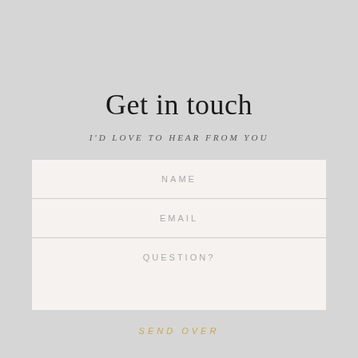Get in touch
I'D LOVE TO HEAR FROM YOU
NAME
EMAIL
QUESTION?
SEND OVER